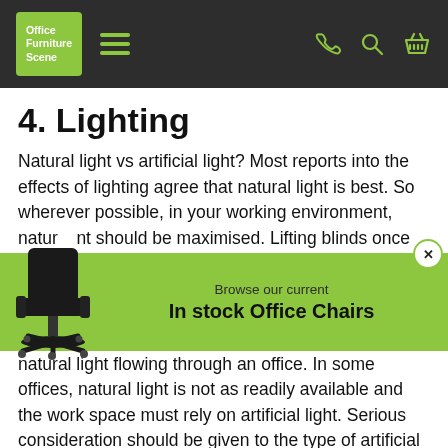Office Furniture Scene
4. Lighting
Natural light vs artificial light? Most reports into the effects of lighting agree that natural light is best. So wherever possible, in your working environment, natural light should be maximised. Lifting blinds once
[Figure (other): Promotional popup banner with an office chair image and text 'Browse our current In stock Office Chairs' on a lime green background with a close button]
natural light flowing through an office. In some offices, natural light is not as readily available and the work space must rely on artificial light. Serious consideration should be given to the type of artificial light provided. Studies conducted by J. N. Ott